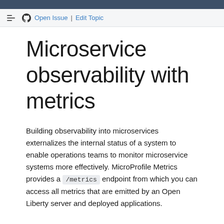Open Issue | Edit Topic
Microservice observability with metrics
Building observability into microservices externalizes the internal status of a system to enable operations teams to monitor microservice systems more effectively. MicroProfile Metrics provides a /metrics endpoint from which you can access all metrics that are emitted by an Open Liberty server and deployed applications.